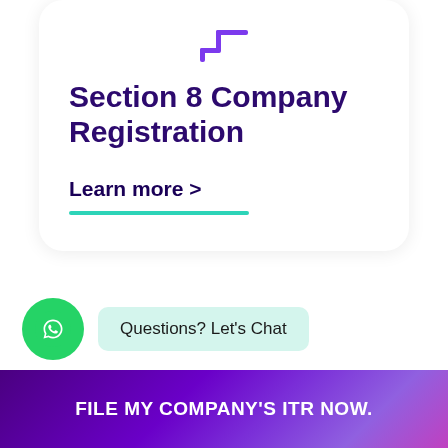[Figure (logo): Purple step/bracket icon at top of card]
Section 8 Company Registration
Learn more  >
Questions? Let's Chat
FILE MY COMPANY'S ITR NOW.